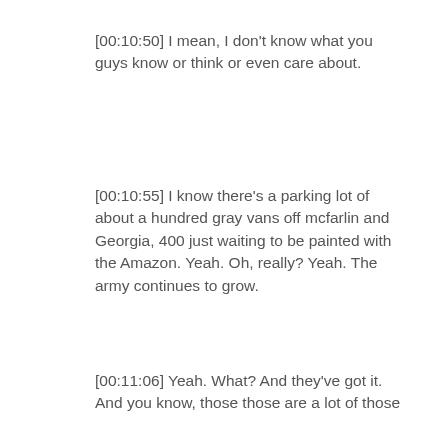[00:10:50] I mean, I don't know what you guys know or think or even care about.
[00:10:55] I know there's a parking lot of about a hundred gray vans off mcfarlin and Georgia, 400 just waiting to be painted with the Amazon. Yeah. Oh, really? Yeah. The army continues to grow.
[00:11:06] Yeah. What? And they've got it. And you know, those those are a lot of those